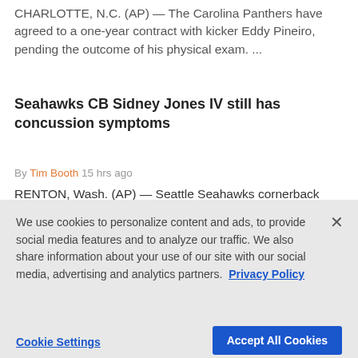CHARLOTTE, N.C. (AP) — The Carolina Panthers have agreed to a one-year contract with kicker Eddy Pineiro, pending the outcome of his physical exam. ...
Seahawks CB Sidney Jones IV still has concussion symptoms
By Tim Booth 15 hrs ago
RENTON, Wash. (AP) — Seattle Seahawks cornerback Sidney Jones IV still has not been cleared to play after a concussion he suffered earlier this month, bringing into...
We use cookies to personalize content and ads, to provide social media features and to analyze our traffic. We also share information about your use of our site with our social media, advertising and analytics partners. Privacy Policy
Cookie Settings   Accept All Cookies